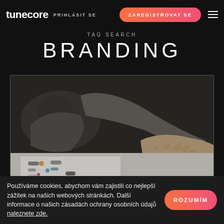tunecore PRIHLASIT SE | ZAREGISTROVAT SE
TAG SEARCH
BRANDING
[Figure (photo): Person's hand reaching over design branding documents/papers laid on a table, with another person blurred in background]
Používáme cookies, abychom vám zajistili co nejlepší zážitek na našich webových stránkách. Další informace o našich zásadách ochrany osobních údajů naleznete zde.